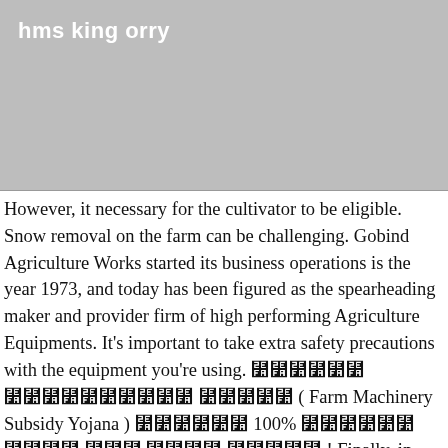hms king orry
However, it necessary for the cultivator to be eligible. Snow removal on the farm can be challenging. Gobind Agriculture Works started its business operations is the year 1973, and today has been figured as the spearheading maker and provider firm of high performing Agriculture Equipments. It’s important to take extra safety precautions with the equipment you’re using. ⻺⻺⻺⻺⻺⻺ ⻺⻺⻺⻺⻺⻺⻺⻺⻺⻺ ⻺⻺⻺⻺⻺ ( Farm Machinery Subsidy Yojana ) ⻺⻺⻺⻺⻺⻺ 100% ⻺⻺⻺⻺⻺⻺ ⻺⻺⻺⻺ ⻺⻺⻺ ⻺⻺⻺⻺ ⻺⻺⻺⻺⻺ ! Finally, in 2008, the central government introduced agricultural machinery subsidies. Accordingly, the eligible farmer must own 2 acres of land. The agricultural machinery market is estimated to grow remarkably during the forecast period. The government recently